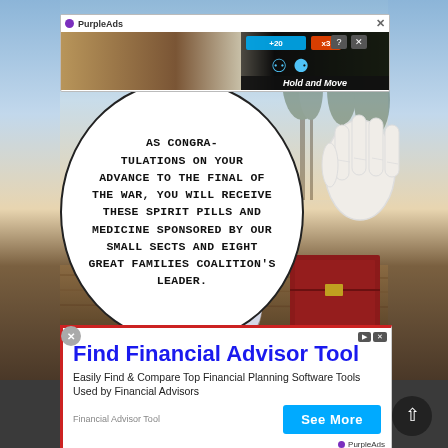[Figure (screenshot): Top advertisement banner with PurpleAds label, showing a game screenshot with 'Hold and Move' text, close button and question/X icons]
[Figure (illustration): Manga/comic panel showing a speech bubble over an anime-style scene with white ceramic jars with Chinese/Japanese text labels on a wooden surface, and a pale hand on the right. The panel has a sky and outdoor background.]
AS CONGRATULATIONS ON YOUR ADVANCE TO THE FINAL OF THE WAR, YOU WILL RECEIVE THESE SPIRIT PILLS AND MEDICINE SPONSORED BY OUR SMALL SECTS AND EIGHT GREAT FAMILIES COALITION'S LEADER.
[Figure (screenshot): Bottom advertisement: 'Find Financial Advisor Tool' - Easily Find & Compare Top Financial Planning Software Tools Used by Financial Advisors. Source: Financial Advisor Tool. Button: See More. PurpleAds branding.]